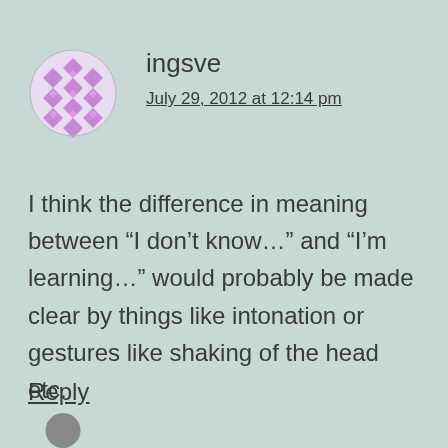[Figure (illustration): Circular avatar image with a geometric diamond/grid pattern in purple and white, representing the user 'ingsve']
ingsve
July 29, 2012 at 12:14 pm
I think the difference in meaning between “I don’t know…” and “I’m learning…” would probably be made clear by things like intonation or gestures like shaking of the head etc.
Reply